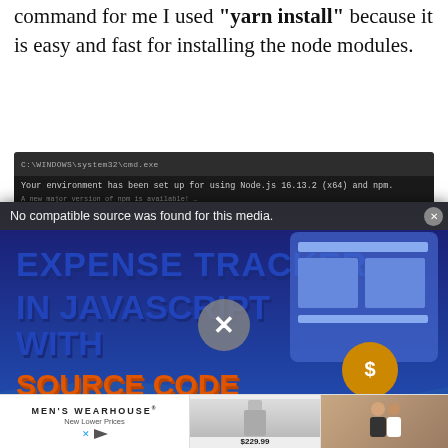command for me I used "yarn install" because it is easy and fast for installing the node modules.
[Figure (screenshot): Terminal window showing Node.js environment setup message at top, overlaid by a video thumbnail popup for 'Expense Tracker in JavaScript with Source Code 2021' by IT SourceCode, with 'No compatible source was found for this media.' notice and an X close button. Below the video is a terminal showing 'yarn install v1.22.17' and package resolution.]
[Figure (screenshot): Advertisement banner for Men's Wearhouse showing 'New Lower Prices' with a suit image priced at $229.99 and a photo of a couple.]